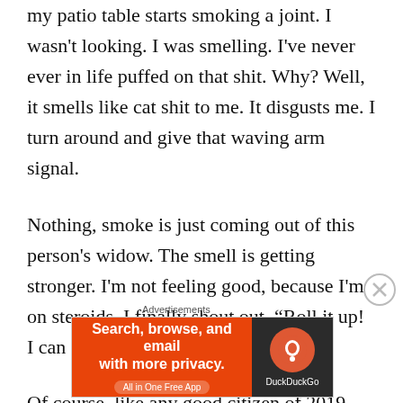my patio table starts smoking a joint. I wasn't looking. I was smelling. I've never ever in life puffed on that shit. Why? Well, it smells like cat shit to me. It disgusts me. I turn around and give that waving arm signal.
Nothing, smoke is just coming out of this person's widow. The smell is getting stronger. I'm not feeling good, because I'm on steroids. I finally shout out, “Roll it up! I can smell you joint.”
Of course, like any good citizen of 2019, they do
Advertisements
[Figure (screenshot): DuckDuckGo advertisement banner: orange left panel with text 'Search, browse, and email with more privacy. All in One Free App' and dark right panel with DuckDuckGo logo and brand name.]